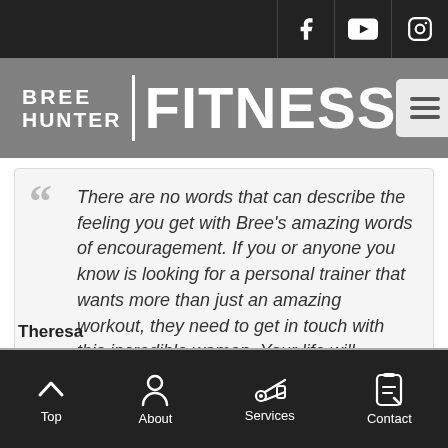Bree Hunter Fitness - website header with social icons (Facebook, YouTube, Instagram) and hamburger menu
There are no words that can describe the feeling you get with Bree's amazing words of encouragement. If you or anyone you know is looking for a personal trainer that wants more than just an amazing workout, they need to get in touch with this incredible woman. Your life will forever be changed!
Theresa
Top | About | Services | Contact